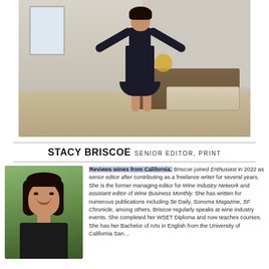[Figure (photo): A woman in a black dress with arms outstretched joyfully in a dining room setting]
STACY BRISCOE SENIOR EDITOR, PRINT
[Figure (photo): Headshot of Stacy Briscoe, a woman with dark hair, smiling]
Reviews wines from California. Briscoe joined Enthusiast in 2022 as senior editor after contributing as a freelance writer for several years. She is the former managing editor for Wine Industry Network and assistant editor of Wine Business Monthly. She has written for numerous publications including Se Daily, Sonoma Magazine, SF Chronicle, among others. Briscoe regularly speaks at wine industry events. She completed her WSET Diploma and now teaches courses. She has her Bachelor of Arts in English from the University of California San...